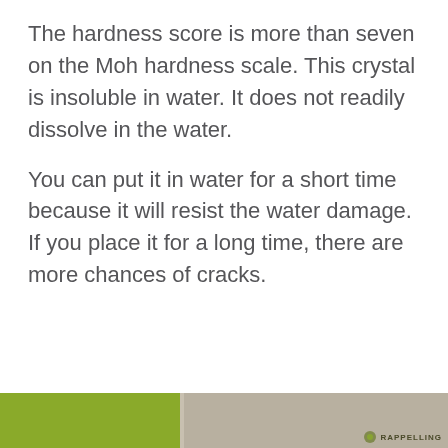The hardness score is more than seven on the Moh hardness scale. This crystal is insoluble in water. It does not readily dissolve in the water.
You can put it in water for a short time because it will resist the water damage. If you place it for a long time, there are more chances of cracks.
[Figure (photo): Bottom strip showing partial image — green section on left (plant/grass), gray/brown section on right with a partially visible logo/watermark reading 'RAPPELLING' or similar]